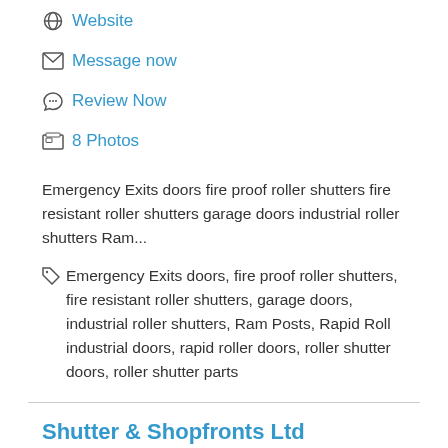Website
Message now
Review Now
8 Photos
Emergency Exits doors fire proof roller shutters fire resistant roller shutters garage doors industrial roller shutters Ram...
Emergency Exits doors, fire proof roller shutters, fire resistant roller shutters, garage doors, industrial roller shutters, Ram Posts, Rapid Roll industrial doors, rapid roller doors, roller shutter doors, roller shutter parts
Shutter & Shopfronts Ltd
Is this your business? Claim now!
Unit 5 Old Firkin Bakery, Black Lake, West Bromwich, West...